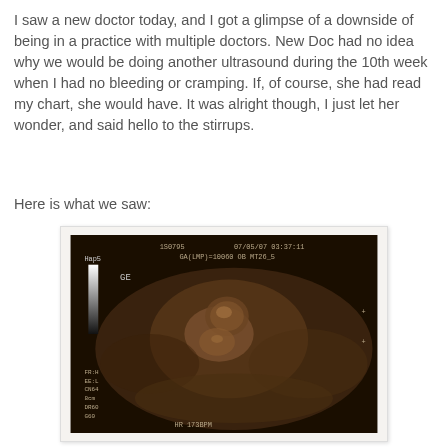I saw a new doctor today, and I got a glimpse of a downside of being in a practice with multiple doctors. New Doc had no idea why we would be doing another ultrasound during the 10th week when I had no bleeding or cramping. If, of course, she had read my chart, she would have. It was alright though, I just let her wonder, and said hello to the stirrups.
Here is what we saw:
[Figure (photo): Ultrasound image showing a fetus. Header text reads: 1S0795  07/05/07 03:37:11  GA(LMP)=10060  OB  MT26_5. Left side shows HapS scale bar and GE label. Lower left shows: FR:H EE:L CN64 8cm DR60 G60. Bottom center shows: HR 173BPM.]